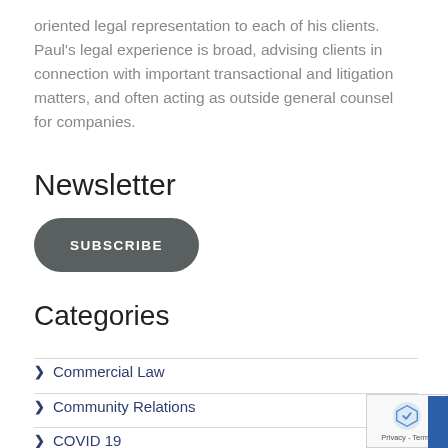oriented legal representation to each of his clients. Paul's legal experience is broad, advising clients in connection with important transactional and litigation matters, and often acting as outside general counsel for companies.
Newsletter
[Figure (other): Dark rounded rectangle button with white uppercase text reading SUBSCRIBE]
Categories
Commercial Law
Community Relations
COVID 19